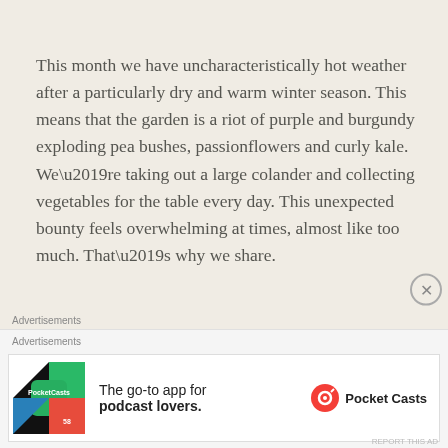This month we have uncharacteristically hot weather after a particularly dry and warm winter season. This means that the garden is a riot of purple and burgundy exploding pea bushes, passionflowers and curly kale. We’re taking out a large colander and collecting vegetables for the table every day. This unexpected bounty feels overwhelming at times, almost like too much. That’s why we share.
[Figure (photo): Garden photo showing green plants including kale and other vegetables growing densely, with purple/burgundy tones in the background]
Advertisements
[Figure (illustration): Pocket Casts advertisement banner: The go-to app for podcast lovers. Pocket Casts logo shown with colorful app icon.]